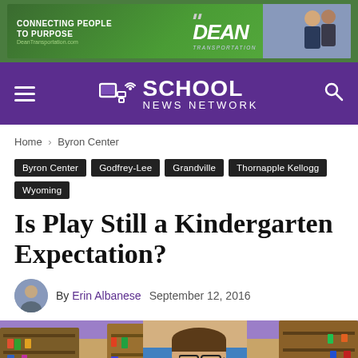[Figure (photo): Dean Transportation advertisement banner — green background with 'Connecting People To Purpose' text, Dean logo, and photo of people]
School News Network
Home › Byron Center
Byron Center
Godfrey-Lee
Grandville
Thornapple Kellogg
Wyoming
Is Play Still a Kindergarten Expectation?
By Erin Albanese   September 12, 2016
[Figure (photo): A young boy wearing glasses sits at a desk in a colorful kindergarten classroom, focused on a task, with classroom shelves and supplies visible in the background]